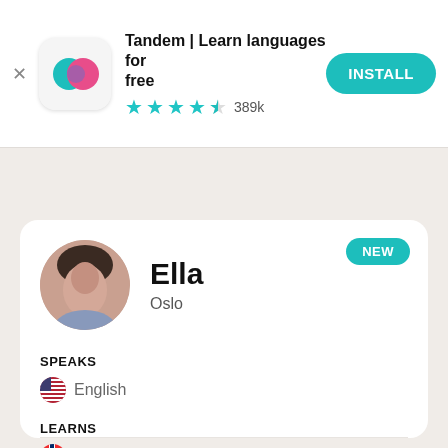[Figure (screenshot): Tandem app advertisement banner with app icon (teal and pink overlapping speech bubbles), app name, star rating, and INSTALL button]
Tandem | Learn languages for free
★★★★½ 389k
INSTALL
[Figure (photo): Profile card for user Ella from Oslo. Shows a circular profile photo of a woman, NEW badge, SPEAKS English (US flag), LEARNS Norwegian (Norwegian flag).]
NEW
Ella
Oslo
SPEAKS
English
LEARNS
Norwegian